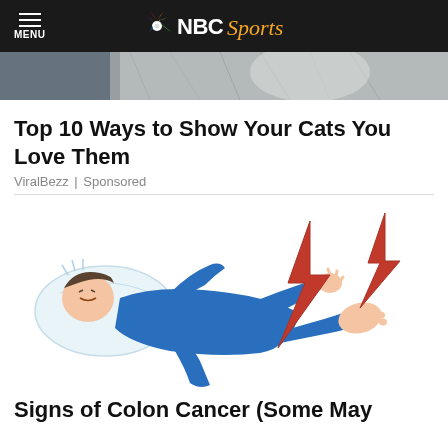MENU | NBC Sports
[Figure (photo): Close-up photo of a cat with gray fur, cropped at the top of the page]
Top 10 Ways to Show Your Cats You Love Them
ViralBezz | Sponsored
[Figure (illustration): Illustration of a person in blue pajamas lying down with red lightning bolt symbols near their leg, indicating pain]
Signs of Colon Cancer (Some May Surprise You)